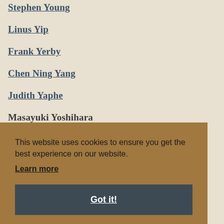Stephen Young
Linus Yip
Frank Yerby
Chen Ning Yang
Judith Yaphe
Masayuki Yoshihara
This website uses cookies to ensure you get the best experience on our website.
Learn more
Got it!